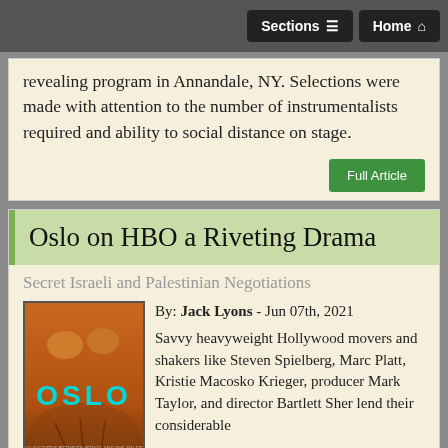Sections | Home
revealing program in Annandale, NY. Selections were made with attention to the number of instrumentalists required and ability to social distance on stage.
Full Article
Oslo on HBO a Riveting Drama
Secret Israeli and Palestinian Negotiations
[Figure (photo): Oslo HBO movie poster with the word OSLO in cyan letters on an orange/brown background]
By: Jack Lyons - Jun 07th, 2021 Savvy heavyweight Hollywood movers and shakers like Steven Spielberg, Marc Platt, Kristie Macosko Krieger, producer Mark Taylor, and director Bartlett Sher lend their considerable talents and heft into a timely remake of the 2017 Tony-winning stage production “Oslo”. The Oslo movie version of 2021 is also written by J.T. ...